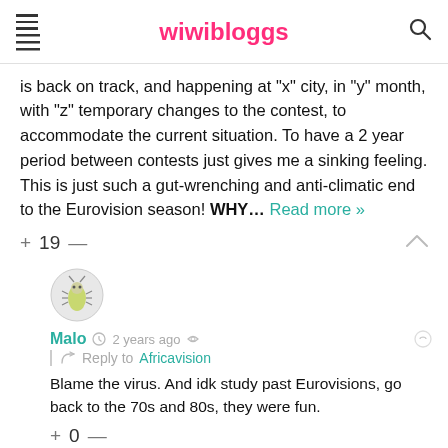wiwibloggs
is back on track, and happening at "x" city, in "y" month, with "z" temporary changes to the contest, to accommodate the current situation. To have a 2 year period between contests just gives me a sinking feeling. This is just such a gut-wrenching and anti-climatic end to the Eurovision season! WHY... Read more »
+ 19 —
[Figure (illustration): Round avatar with cartoon bug illustration]
Malo · 2 years ago · Reply to Africavision
Blame the virus. And idk study past Eurovisions, go back to the 70s and 80s, they were fun.
+ 0 —
[Figure (illustration): Round avatar with globe/earth illustration]